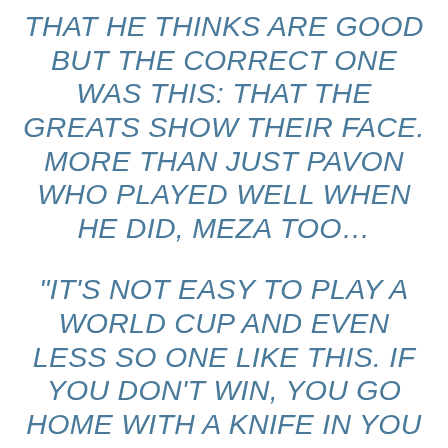THAT HE THINKS ARE GOOD BUT THE CORRECT ONE WAS THIS: THAT THE GREATS SHOW THEIR FACE. MORE THAN JUST PAVON WHO PLAYED WELL WHEN HE DID, MEZA TOO…
“IT’S NOT EASY TO PLAY A WORLD CUP AND EVEN LESS SO ONE LIKE THIS. IF YOU DON’T WIN, YOU GO HOME WITH A KNIFE IN YOU THAT YOU COULD NEVER TAKE OUT. THIS WASN’T THE TIME TO GAMBLE OR TRY SOMETHING STRANGE. HE ACCEPTED IT IN THE BEST WAY, HE KNEW WE WERE RIGHT. IF NOT,